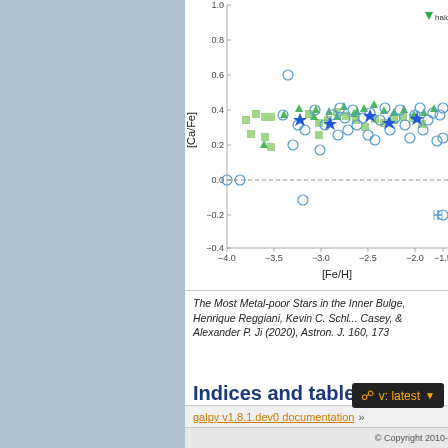[Figure (continuous-plot): Scatter plot of [Ca/Fe] vs [Fe/H] for metal-poor stars. Y-axis ranges from about -0.4 to 1.0 labeled [Ca/Fe]. X-axis ranges from -4.0 to about -1.5 labeled [Fe/H]. Contains blue circles (halo stars), green squares and green triangles (halo dwarfs), and blue star symbols. A dashed horizontal line at y=0.0 and an error bar symbol shown in lower right.]
The Most Metal-poor Stars in the Inner Bulge, Henrique Reggiani, Kevin C. Schlaufman, Andrew R. Casey, & Alexander P. Ji (2020), Astron. J. 160, 173
Indices and tables
Index
Module Index
Search Page
galpy v1.8.1.dev0 documentation »
© Copyright 2010-